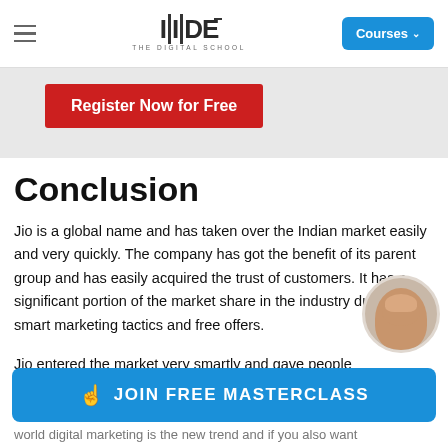IIDE – THE DIGITAL SCHOOL | Courses
[Figure (screenshot): Red 'Register Now for Free' button banner at top of page]
Conclusion
Jio is a global name and has taken over the Indian market easily and very quickly. The company has got the benefit of its parent group and has easily acquired the trust of customers. It has a significant portion of the market share in the industry due to its smart marketing tactics and free offers.
Jio entered the market very smartly and gave people services that helped the company gain a lot of customers
[Figure (photo): Circular avatar photo of a smiling woman, partially overlapping the text]
[Figure (screenshot): Blue 'JOIN FREE MASTERCLASS' button with hand pointer icon]
world digital marketing is the new trend and if you also want